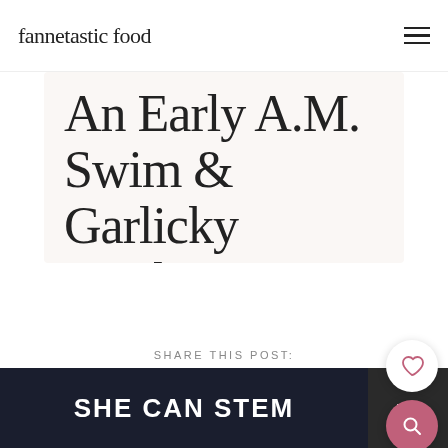fannetastic food
An Early A.M. Swim & Garlicky Mushrooms with Kale
19 comments
SHARE THIS POST:
[Figure (other): SHE CAN STEM advertisement banner with dark background and logo]